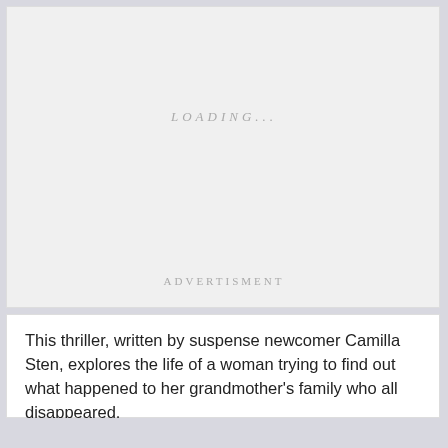LOADING...
ADVERTISMENT
This thriller, written by suspense newcomer Camilla Sten, explores the life of a woman trying to find out what happened to her grandmother’s family who all disappeared.